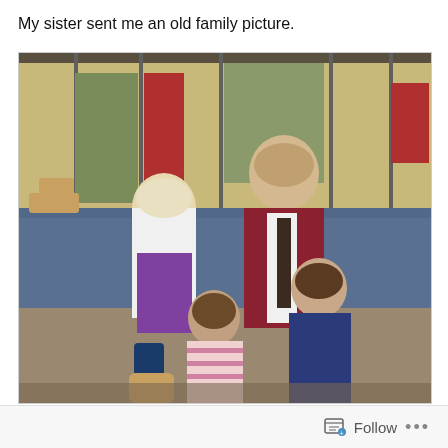My sister sent me an old family picture.
[Figure (photo): Vintage family photo from approximately the 1960s-1970s showing four people posing indoors near what appears to be an indoor swimming pool. Two adults stand in the back: a woman with short blonde/white hair wearing a white blouse and purple skirt, and a tall man in a dark red/maroon blazer with a white shirt and dark tie. Two children stand in the front: a younger child in a striped pink and white sleeveless top, and an older child in a navy blue sleeveless dress. The background shows large windows, outdoor lounge chairs, and a red accent panel.]
Follow ...